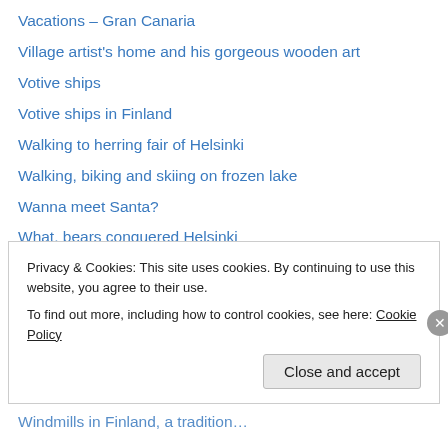Vacations – Gran Canaria
Village artist's home and his gorgeous wooden art
Votive ships
Votive ships in Finland
Walking to herring fair of Helsinki
Walking, biking and skiing on frozen lake
Wanna meet Santa?
What, bears conquered Helsinki
White bridges in summer
White bridges in winter
White water of Imatrankoski Rapids
Wind's nest – what they are
Windmill and Old Tableware
Windmills in Finland, a tradition…
Privacy & Cookies: This site uses cookies. By continuing to use this website, you agree to their use.
To find out more, including how to control cookies, see here: Cookie Policy
Close and accept